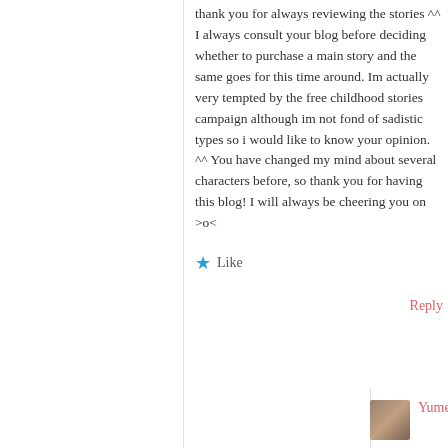thank you for always reviewing the stories ^^ I always consult your blog before deciding whether to purchase a main story and the same goes for this time around. Im actually very tempted by the free childhood stories campaign although im not fond of sadistic types so i would like to know your opinion. ^^ You have changed my mind about several characters before, so thank you for having this blog! I will always be cheering you on >o<
★ Like
Reply
Yume